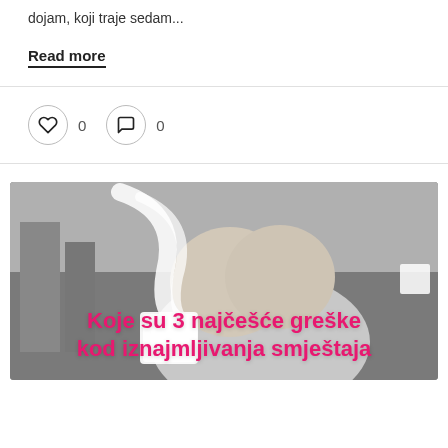dojam, koji traje sedam...
Read more
0  0
[Figure (photo): Black and white photo of a child covering their face with both hands, with overlaid pink bold text reading: Koje su 3 najčešće greške kod iznajmljivanja smještaja]